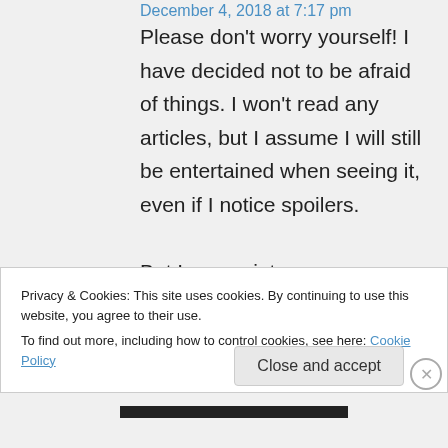December 4, 2018 at 7:17 pm
Please don't worry yourself! I have decided not to be afraid of things. I won't read any articles, but I assume I will still be entertained when seeing it, even if I notice spoilers.

But I appreciate your consideration, Haylee
Privacy & Cookies: This site uses cookies. By continuing to use this website, you agree to their use.
To find out more, including how to control cookies, see here: Cookie Policy